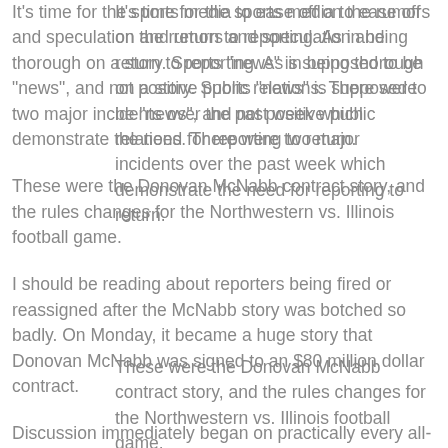It's time for the sports media to ease off on the rumors and speculation and return to reporting. As in being thorough on a story. Sports "news" is supposed to be "news", and not positive public relations. There were two major incidents over the past week which demonstrate the need for reporting to return.
These were the Donovan McNabb contract story, and the rules changes for the Northwestern vs. Illinois football game.
I should be reading about reporters being fired or reassigned after the McNabb story was botched so badly. On Monday, it became a huge story that Donovan McNabb was signed to an $80 million dollar contract.
Discussion immediately began on practically every all-sports radio and TV outlet, and throughout work places around the country as to McNabb's real value to his team and the league, and how such a contract rates against other